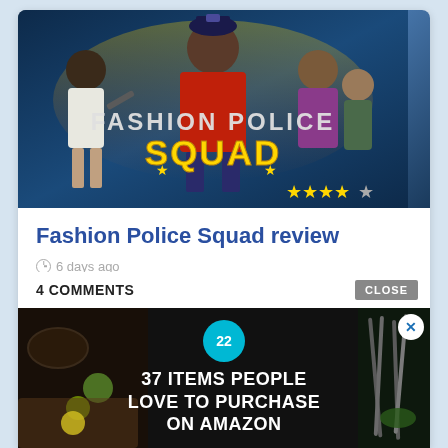[Figure (screenshot): Game promotional image for Fashion Police Squad showing multiple game characters on a blue background with golden star rating]
Fashion Police Squad review
6 days ago
4 COMMENTS
[Figure (infographic): Advertisement banner showing '37 ITEMS PEOPLE LOVE TO PURCHASE ON AMAZON' with a teal badge showing '22' and food/kitchen background imagery, with a close X button]